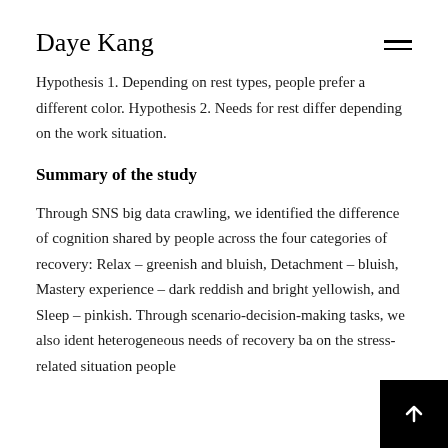Daye Kang
Hypothesis 1. Depending on rest types, people prefer a different color. Hypothesis 2. Needs for rest differ depending on the work situation.
Summary of the study
Through SNS big data crawling, we identified the difference of cognition shared by people across the four categories of recovery: Relax – greenish and bluish, Detachment – bluish, Mastery experience – dark reddish and bright yellowish, and Sleep – pinkish. Through scenario-decision-making tasks, we also identified heterogeneous needs of recovery based on the stress-related situation people